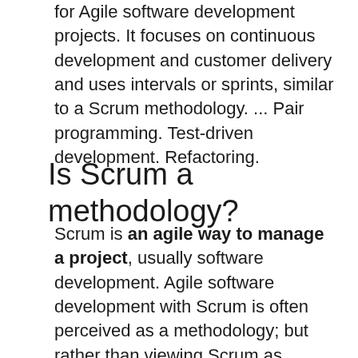for Agile software development projects. It focuses on continuous development and customer delivery and uses intervals or sprints, similar to a Scrum methodology. ... Pair programming. Test-driven development. Refactoring.
Is Scrum a methodology?
Scrum is an agile way to manage a project, usually software development. Agile software development with Scrum is often perceived as a methodology; but rather than viewing Scrum as methodology, think of it as a framework for managing a process.